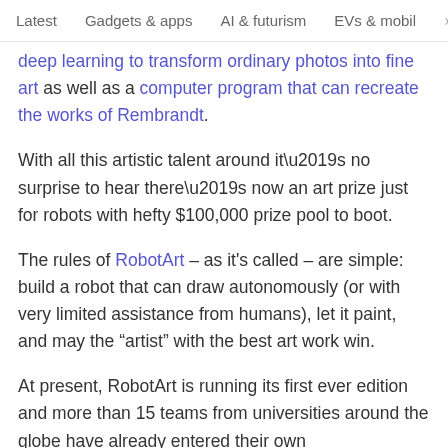Latest   Gadgets & apps   AI & futurism   EVs & mobil  >
deep learning to transform ordinary photos into fine art as well as a computer program that can recreate the works of Rembrandt.
With all this artistic talent around it’s no surprise to hear there’s now an art prize just for robots with hefty $100,000 prize pool to boot.
The rules of RobotArt – as it’s called – are simple: build a robot that can draw autonomously (or with very limited assistance from humans), let it paint, and may the “artist” with the best art work win.
At present, RobotArt is running its first ever edition and more than 15 teams from universities around the globe have already entered their own